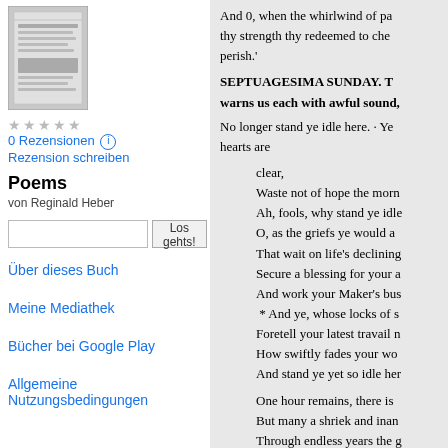[Figure (illustration): Thumbnail image of the book cover for Poems by Reginald Heber]
0 Rezensionen  Rezension schreiben
Poems
von Reginald Heber
Los gehts! (search box and button)
Über dieses Buch
Meine Mediathek
Bücher bei Google Play
Allgemeine Nutzungsbedingungen
And 0, when the whirlwind of pa
thy strength thy redeemed to che
perish.'
SEPTUAGESIMA SUNDAY. T
warns us each with awful sound,
No longer stand ye idle here. · Ye
hearts are
clear,
Waste not of hope the morn
Ah, fools, why stand ye idle
O, as the griefs ye would a
That wait on life's declining
Secure a blessing for your a
And work your Maker's bus
* And ye, whose locks of s
Foretell your latest travail n
How swiftly fades your wo
And stand ye yet so idle her
One hour remains, there is
But many a shriek and inan
Through endless years the g